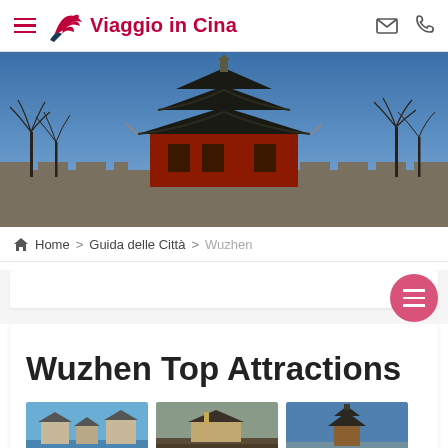Viaggio in Cina
[Figure (photo): Chinese imperial tower/pavilion with red walls at dusk with bare trees and stone fortifications]
Home > Guida delle Città > Wuzhen
Wuzhen Top Attractions
[Figure (photo): Three small thumbnail images of Wuzhen attractions at the bottom of the page]